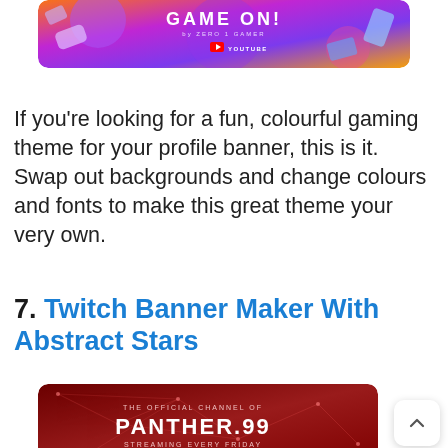[Figure (illustration): Gaming YouTube channel banner with purple/orange gradient background, game controllers, credit cards, and text 'GAME ON by ZERO 1 GAMER' with YouTube logo]
If you're looking for a fun, colourful gaming theme for your profile banner, this is it. Swap out backgrounds and change colours and fonts to make this great theme your very own.
7. Twitch Banner Maker With Abstract Stars
[Figure (illustration): Dark red Twitch banner with network/star constellation lines, text reading 'THE OFFICIAL CHANNEL OF PANTHER.99 STREAMING EVERY FRIDAY']